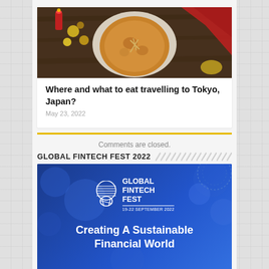[Figure (photo): Overhead photo of a round Japanese dish (possibly a pizza or cake) on a dark wooden table with Christmas ornaments, red cloth napkin, and holiday decorations.]
Where and what to eat travelling to Tokyo, Japan?
May 23, 2022
Comments are closed.
GLOBAL FINTECH FEST 2022
[Figure (illustration): Global Fintech Fest 2022 banner with blue background, GFF globe logo, and text 'Creating A Sustainable Financial World', dated 19-22 September 2022.]